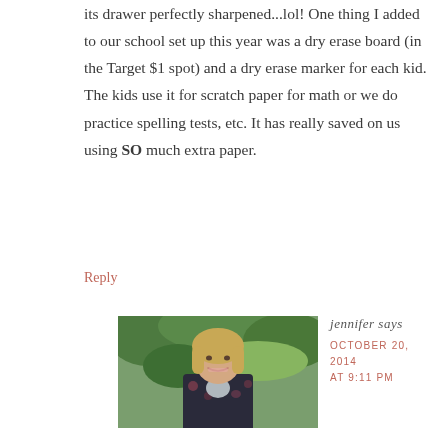its drawer perfectly sharpened...lol! One thing I added to our school set up this year was a dry erase board (in the Target $1 spot) and a dry erase marker for each kid. The kids use it for scratch paper for math or we do practice spelling tests, etc. It has really saved on us using SO much extra paper.
Reply
[Figure (photo): Portrait photo of a smiling woman with shoulder-length blonde hair, wearing a dark floral jacket, outdoors with green foliage in background]
jennifer says
OCTOBER 20, 2014 AT 9:11 PM